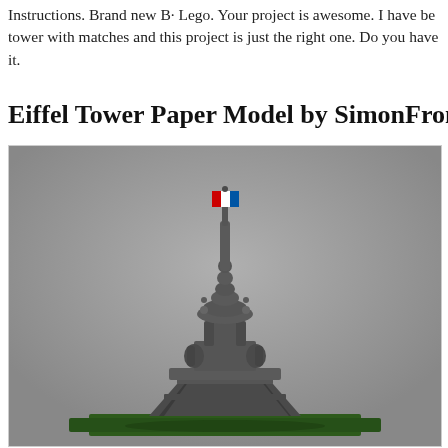Instructions. Brand new B· Lego. Your project is awesome. I have be tower with matches and this project is just the right one. Do you have it.
Eiffel Tower Paper Model by SimonFront Thi
[Figure (photo): A LEGO model of the top portion of the Eiffel Tower, showing the spire with a red, white, and blue French flag at the top. The model is made of dark grey LEGO bricks and sits on a green base. Background is grey.]